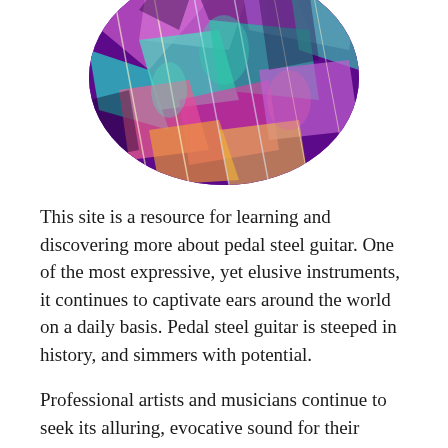[Figure (illustration): A circular cropped colorful artistic illustration of musical instruments including guitars, with vivid purple, teal, green, and pink hues in a stylized painted style.]
This site is a resource for learning and discovering more about pedal steel guitar. One of the most expressive, yet elusive instruments, it continues to captivate ears around the world on a daily basis. Pedal steel guitar is steeped in history, and simmers with potential.
Professional artists and musicians continue to seek its alluring, evocative sound for their records. However the instrument is hardly known by anyone, even though millions of people hear it daily on albums